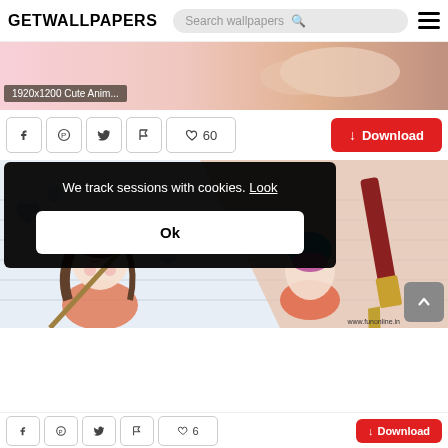GETWALLPAPERS
[Figure (screenshot): Website screenshot of GETWALLPAPERS showing a wallpaper download page with cute anime characters and a cookie consent overlay]
1920x1200 Cute Anim...
♥ 60
Download
[Figure (illustration): Cute anime cartoon girl with brown hair holding a broom, and another character with blue hat, with a large paintbrush on striped background]
We track sessions with cookies. Look
Ok
www.funonline.in
♥ 6
Download